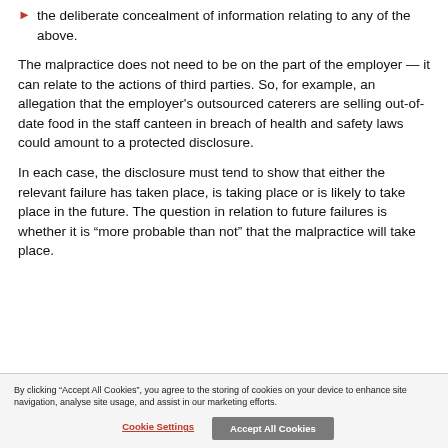the deliberate concealment of information relating to any of the above.
The malpractice does not need to be on the part of the employer — it can relate to the actions of third parties. So, for example, an allegation that the employer's outsourced caterers are selling out-of-date food in the staff canteen in breach of health and safety laws could amount to a protected disclosure.
In each case, the disclosure must tend to show that either the relevant failure has taken place, is taking place or is likely to take place in the future. The question in relation to future failures is whether it is “more probable than not” that the malpractice will take place.
By clicking “Accept All Cookies”, you agree to the storing of cookies on your device to enhance site navigation, analyse site usage, and assist in our marketing efforts.